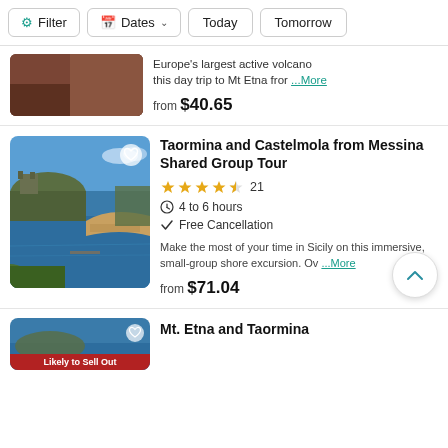Filter | Dates | Today | Tomorrow
Europe's largest active volcano this day trip to Mt Etna from ...More
from $40.65
Taormina and Castelmola from Messina Shared Group Tour
★★★★½ 21
4 to 6 hours
Free Cancellation
Make the most of your time in Sicily on this immersive, small-group shore excursion. Ov ...More
from $71.04
Mt. Etna and Taormina